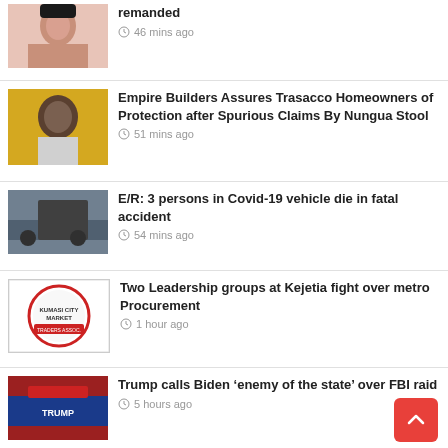remanded | 46 mins ago
Empire Builders Assures Trasacco Homeowners of Protection after Spurious Claims By Nungua Stool | 51 mins ago
E/R: 3 persons in Covid-19 vehicle die in fatal accident | 54 mins ago
Two Leadership groups at Kejetia fight over metro Procurement | 1 hour ago
Trump calls Biden ‘enemy of the state’ over FBI raid | 5 hours ago
Kenya’s Supreme Court confirms William Ruto’s presidential victory | 5 hours ago